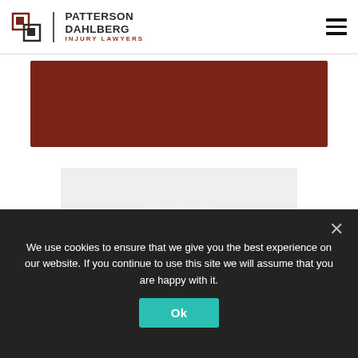Patterson Dahlberg Injury Lawyers
[Figure (illustration): Dark brownish-red rectangular banner image]
[Figure (illustration): Light gray box with faint white courthouse/building watermark illustration]
We use cookies to ensure that we give you the best experience on our website. If you continue to use this site we will assume that you are happy with it.
Ok